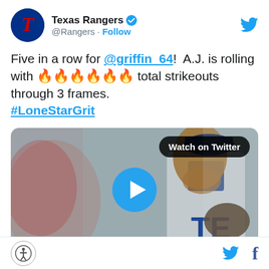[Figure (screenshot): Texas Rangers Twitter profile avatar — blue circle with red T logo]
Texas Rangers ✓ @Rangers · Follow
[Figure (logo): Twitter bird icon (blue) top right]
Five in a row for @griffin_64!  A.J. is rolling with 🔥🔥🔥🔥🔥🔥 total strikeouts through 3 frames. #LoneStarGrit
[Figure (screenshot): Video thumbnail of Texas Rangers pitcher (A.J. Griffin) with play button overlay, GIF badge bottom left, MLB.com badge bottom right, Watch on Twitter badge top right]
Footer with accessibility logo, Twitter icon, Facebook icon